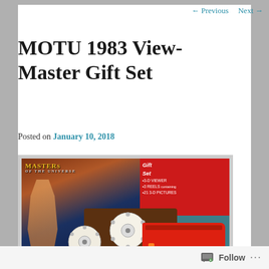← Previous   Next →
MOTU 1983 View-Master Gift Set
Posted on January 10, 2018
[Figure (photo): Photo of the Masters of the Universe 1983 View-Master Gift Set, showing the box with red panel listing contents (3-D Viewer, 3 Reels containing 21 3-D Pictures), two white View-Master reels, and a red View-Master viewer device, all on a teal background.]
Follow ...